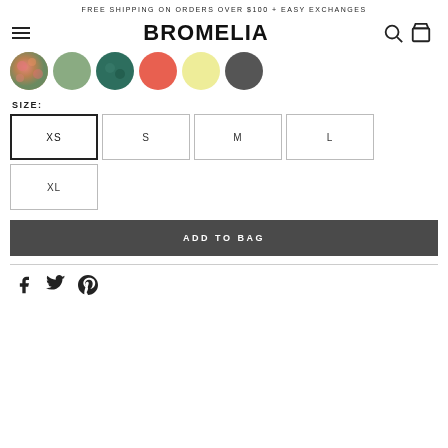FREE SHIPPING ON ORDERS OVER $100 + EASY EXCHANGES
[Figure (screenshot): Website navigation bar with hamburger menu, BROMELIA brand logo, search icon, and shopping bag icon]
[Figure (illustration): Six color swatches: floral print, sage green, teal/tropical, coral/orange-red, pale yellow, charcoal gray]
SIZE:
[Figure (illustration): Size selector buttons: XS (selected with bold border), S, M, L, XL]
ADD TO BAG
[Figure (illustration): Social share icons: Facebook, Twitter, Pinterest]